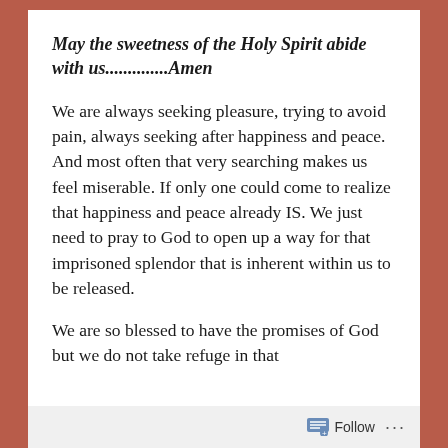May the sweetness of the Holy Spirit abide with us..............Amen
We are always seeking pleasure, trying to avoid pain, always seeking after happiness and peace. And most often that very searching makes us feel miserable. If only one could come to realize that happiness and peace already IS. We just need to pray to God to open up a way for that imprisoned splendor that is inherent within us to be released.
We are so blessed to have the promises of God but we do not take refuge in that
Follow ...